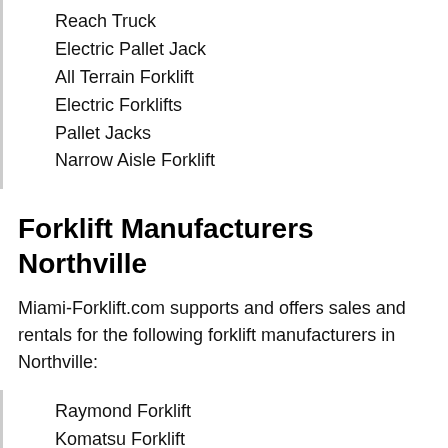Reach Truck
Electric Pallet Jack
All Terrain Forklift
Electric Forklifts
Pallet Jacks
Narrow Aisle Forklift
Forklift Manufacturers Northville
Miami-Forklift.com supports and offers sales and rentals for the following forklift manufacturers in Northville:
Raymond Forklift
Komatsu Forklift
Mitsubishi Forklift
Crown Lift Trucks